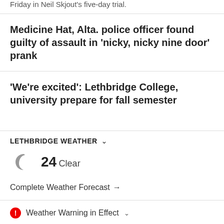Friday in Neil Skjout's five-day trial.
Medicine Hat, Alta. police officer found guilty of assault in 'nicky, nicky nine door' prank
'We're excited': Lethbridge College, university prepare for fall semester
LETHBRIDGE WEATHER
24 Clear
Complete Weather Forecast →
Weather Warning in Effect
ADVERTISEMENT